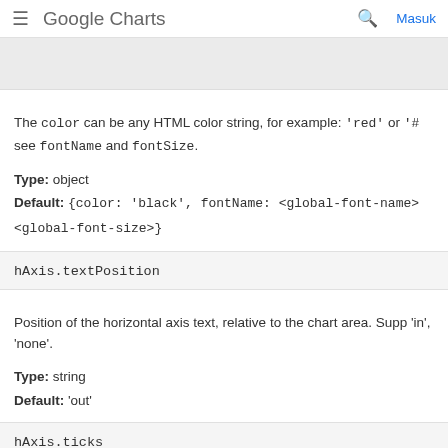Google Charts  Masuk
[Figure (screenshot): Gray box representing a chart or code screenshot area]
The color can be any HTML color string, for example: 'red' or '#e see fontName and fontSize.
Type: object
Default: {color: 'black', fontName: <global-font-name> <global-font-size>}
hAxis.textPosition
Position of the horizontal axis text, relative to the chart area. Supp 'in', 'none'.
Type: string
Default: 'out'
hAxis.ticks
Replaces the automatically generated X-axis ticks with the specifie element of the array should be either a valid tick value (such as a n